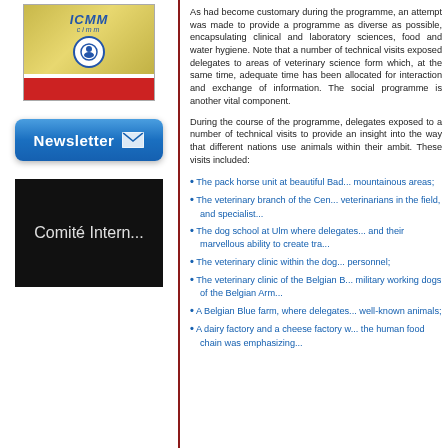[Figure (photo): ICMM book cover with blue text and red bottom strip]
[Figure (illustration): Blue Newsletter button with envelope icon]
[Figure (screenshot): Black box with white text reading Comite Intern...]
As had become customary during the programme, an attempt was made to provide a programme as diverse as possible, encapsulating clinical and laboratory sciences, food and water hygiene. Note that a number of technical visits exposed delegates to areas of veterinary science form which, at the same time, adequate time has been allocated for interaction and exchange of information. The social programme is another vital component.
During the course of the programme, delegates exposed to a number of technical visits to provide an insight into the way that different nations use animals within their ambit. These visits included:
The pack horse unit at beautiful Bad... mountainous areas;
The veterinary branch of the Central... veterinarians in the field, and specialist...
The dog school at Ulm where delegates... and their marvellous ability to create tra...
The veterinary clinic within the dog... personnel;
The veterinary clinic of the Belgian... military working dogs of the Belgian Arm...
A Belgian Blue farm, where delegates... well-known animals;
A dairy factory and a cheese factory w... the human food chain was emphasizing...